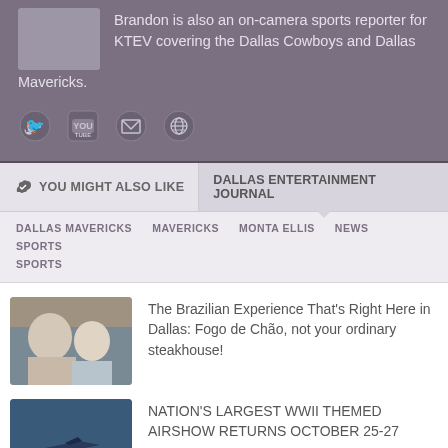Brandon is also an on-camera sports reporter for KTEV covering the Dallas Cowboys and Dallas Mavericks.
[Figure (illustration): Social media icons: Twitter bird, YouTube logo, envelope/email icon, globe/web icon]
YOU MIGHT ALSO LIKE | DALLAS ENTERTAINMENT JOURNAL
DALLAS MAVERICKS   MAVERICKS   MONTA ELLIS   NEWS   SPORTS   SPORTS
The Brazilian Experience That's Right Here in Dallas: Fogo de Chão, not your ordinary steakhouse!
NATION'S LARGEST WWII THEMED AIRSHOW RETURNS OCTOBER 25-27
THE WHISKY EXTRAVAGANZA: DALLAS Friday,